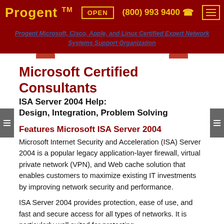Progent™  OPEN  (800) 993 9400  ☎
Progent Microsoft, Cisco, Apple, and Linux Certified Expert Network Systems Support Organization
Microsoft Certified Consultants ISA Server 2004 Help: Design, Integration, Problem Solving
Features Microsoft ISA Server 2004
Microsoft Internet Security and Acceleration (ISA) Server 2004 is a popular legacy application-layer firewall, virtual private network (VPN), and Web cache solution that enables customers to maximize existing IT investments by improving network security and performance.
ISA Server 2004 provides protection, ease of use, and fast and secure access for all types of networks. It is particularly well suited for protecting